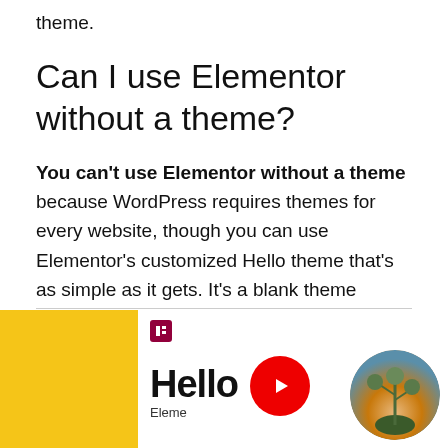theme.
Can I use Elementor without a theme?
You can't use Elementor without a theme because WordPress requires themes for every website, though you can use Elementor's customized Hello theme that's as simple as it gets. It's a blank theme where you can add any elements or templates you desire.
[Figure (screenshot): Screenshot of Elementor Hello theme page showing yellow left panel, Elementor logo icon, Hello text with Eleme... label, a red YouTube play button, and a circular photo of a desert plant at sunset.]